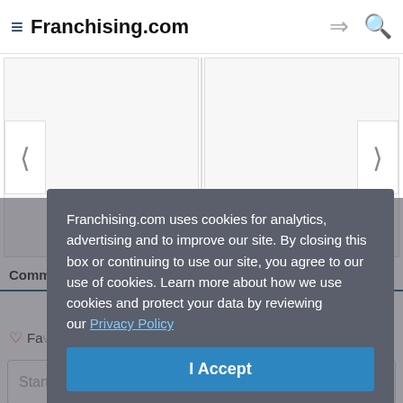Franchising.com
[Figure (screenshot): Website page background showing two card columns with left/right navigation arrows, a Comments/Community/Privacy Policy tab bar, login and sort controls, a favorite button, and a Start the discussion input field.]
Franchising.com uses cookies for analytics, advertising and to improve our site. By closing this box or continuing to use our site, you agree to our use of cookies. Learn more about how we use cookies and protect your data by reviewing our Privacy Policy
I Accept